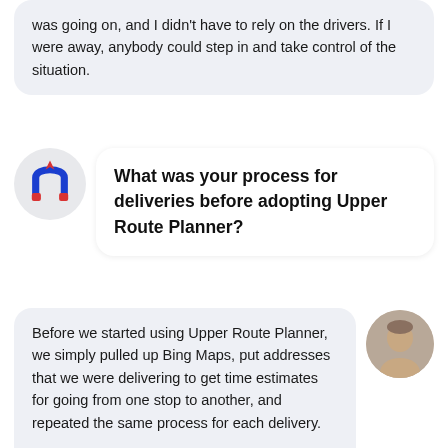was going on, and I didn't have to rely on the drivers. If I were away, anybody could step in and take control of the situation.
What was your process for deliveries before adopting Upper Route Planner?
Before we started using Upper Route Planner, we simply pulled up Bing Maps, put addresses that we were delivering to get time estimates for going from one stop to another, and repeated the same process for each delivery.

It wasn't a particularly hard process, but it took a lot of time, and as you know, time is money, so we wanted to cut down the amount of time we spent